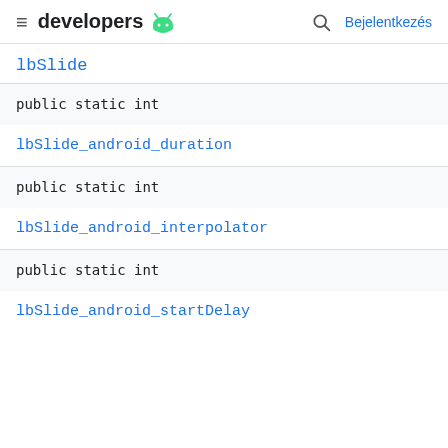developers | Bejelentkezés
lbSlide
public static int
lbSlide_android_duration
public static int
lbSlide_android_interpolator
public static int
lbSlide_android_startDelay